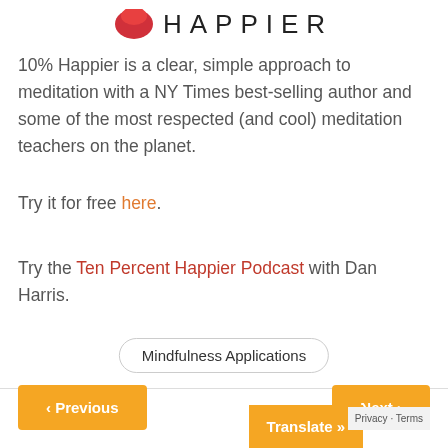[Figure (logo): 10% Happier logo with red abstract shape on left and HAPPIER text in spaced caps]
10% Happier is a clear, simple approach to meditation with a NY Times best-selling author and some of the most respected (and cool) meditation teachers on the planet.
Try it for free here.
Try the Ten Percent Happier Podcast with Dan Harris.
Mindfulness Applications
< Previous
Next >
Translate »
Privacy · Terms